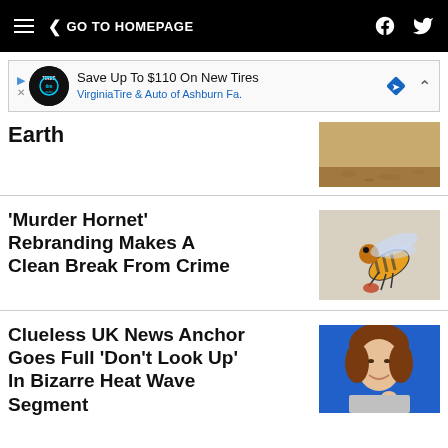GO TO HOMEPAGE
[Figure (screenshot): Advertisement banner: Save Up To $110 On New Tires - Virginia Tire & Auto of Ashburn Fa.]
Earth
[Figure (photo): Sandy ground/Mars surface photo]
'Murder Hornet' Rebranding Makes A Clean Break From Crime
[Figure (photo): Close-up photo of a large hornet/murder hornet on a surface]
Clueless UK News Anchor Goes Full 'Don't Look Up' In Bizarre Heat Wave Segment
[Figure (photo): Photo of a smiling woman with brown hair against a blue background]